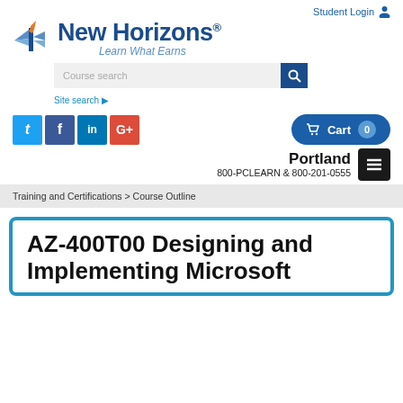Student Login
[Figure (logo): New Horizons logo with tagline 'Learn What Earns']
Course search
Site search ▶
[Figure (infographic): Social media icons: Twitter, Facebook, LinkedIn, Google+]
Cart 0
Portland
800-PCLEARN  & 800-201-0555
Training and Certifications > Course Outline
AZ-400T00 Designing and Implementing Microsoft